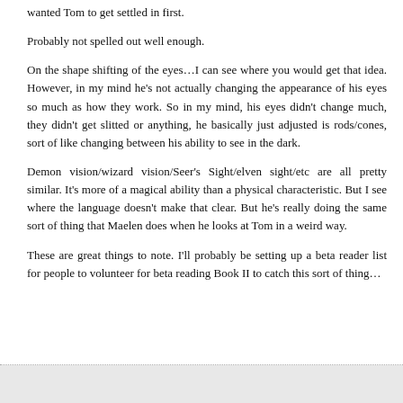wanted Tom to get settled in first.
Probably not spelled out well enough.
On the shape shifting of the eyes…I can see where you would get that idea. However, in my mind he's not actually changing the appearance of his eyes so much as how they work. So in my mind, his eyes didn't change much, they didn't get slitted or anything, he basically just adjusted is rods/cones, sort of like changing between his ability to see in the dark.
Demon vision/wizard vision/Seer's Sight/elven sight/etc are all pretty similar. It's more of a magical ability than a physical characteristic. But I see where the language doesn't make that clear. But he's really doing the same sort of thing that Maelen does when he looks at Tom in a weird way.
These are great things to note. I'll probably be setting up a beta reader list for people to volunteer for beta reading Book II to catch this sort of thing…